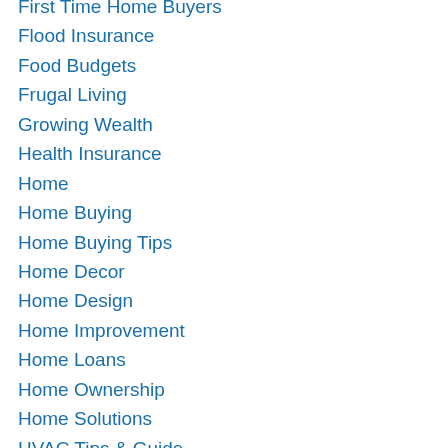First Time Home Buyers
Flood Insurance
Food Budgets
Frugal Living
Growing Wealth
Health Insurance
Home
Home Buying
Home Buying Tips
Home Decor
Home Design
Home Improvement
Home Loans
Home Ownership
Home Solutions
HVAC Tips & Guide
Identity Theft